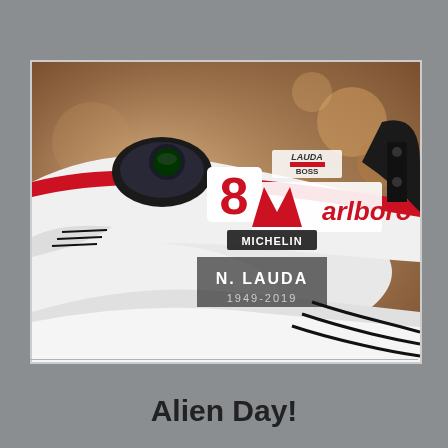[Figure (photo): Close-up photo of a Formula 1 racing car with white and red livery, number 8, with Marlboro, Michelin, LAUDA, and BOSS branding. Overlaid text reads 'N. LAUDA' and '1949-2019' in white letters on a dark semi-transparent background.]
Alien Day!